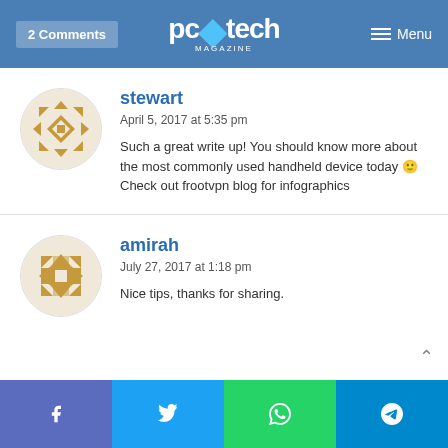2 Comments | pc tech MAGAZINE | Menu
stewart
April 5, 2017 at 5:35 pm
Such a great write up! You should know more about the most commonly used handheld device today 🙂 Check out frootvpn blog for infographics
amirah
July 27, 2017 at 1:18 pm
Nice tips, thanks for sharing.
Facebook | Twitter | WhatsApp | Telegram